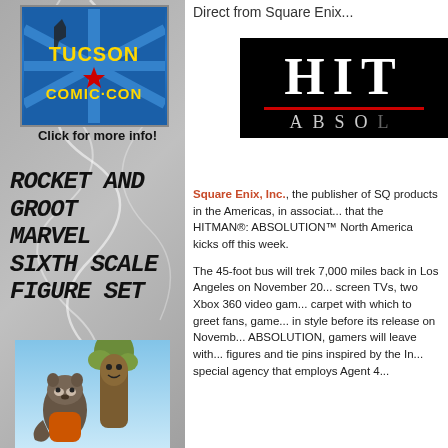[Figure (illustration): Tucson Comic-Con logo on blue starburst background]
Click for more info!
ROCKET AND GROOT MARVEL SIXTH SCALE FIGURE SET
[Figure (photo): Rocket Raccoon and Groot sixth scale figures posed together]
Direct from Square Enix...
[Figure (logo): HITMAN ABSOLUTION logo on black background]
Square Enix, Inc., the publisher of Square Enix products in the Americas, in association with ... that the HITMAN®: ABSOLUTION™ ... North America kicks off this week.
The 45-foot bus will trek 7,000 miles ... back in Los Angeles on November 20... screen TVs, two Xbox 360 video gam... carpet with which to greet fans, game... in style before its release on Novemb... ABSOLUTION, gamers will leave with... figures and tie pins inspired by the In... special agency that employs Agent 4...